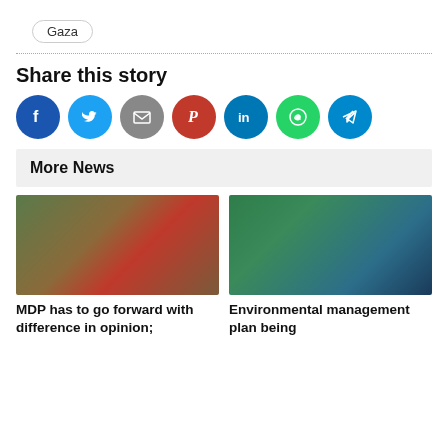Gaza
Share this story
[Figure (infographic): Social media share icons: Facebook, Twitter, Email, Pinterest, LinkedIn, WhatsApp, Telegram]
More News
[Figure (photo): Two men in formal wear standing in front of red and green Maldivian flags]
[Figure (photo): Aerial view of a tropical island with lagoon and ocean waves]
MDP has to go forward with difference in opinion;
Environmental management plan being